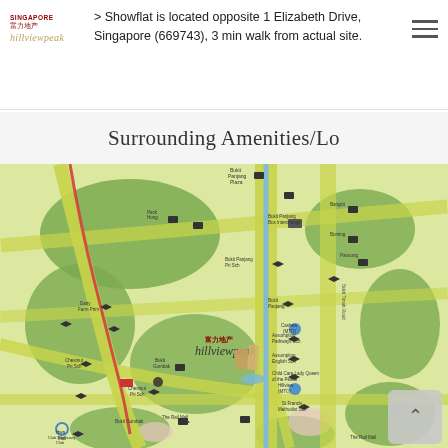> Showflat is located opposite 1 Elizabeth Drive, Singapore (669743), 3 min walk from actual site.
Surrounding Amenities/Lo
[Figure (map): Surrounding amenities map for Hillview Peak development in Singapore, showing nearby bus stops, schools, MRT stations, parks and other amenities with icons on a stylized street map.]